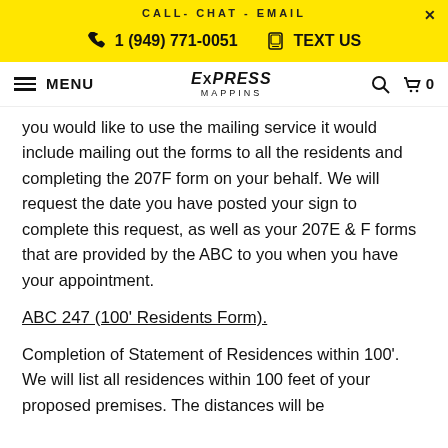CALL- CHAT - EMAIL
1 (949) 771-0051   TEXT US
MENU | EXPRESS MAPPINS | 0
you would like to use the mailing service it would include mailing out the forms to all the residents and completing the 207F form on your behalf. We will request the date you have posted your sign to complete this request, as well as your 207E & F forms that are provided by the ABC to you when you have your appointment.
ABC 247 (100' Residents Form).
Completion of Statement of Residences within 100'. We will list all residences within 100 feet of your proposed premises. The distances will be